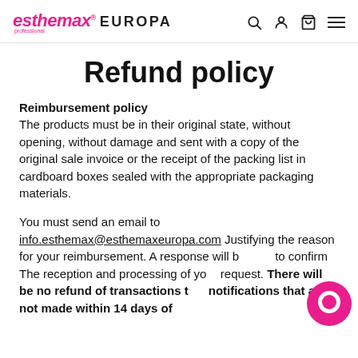esthemax® professional EUROPA
Refund policy
Reimbursement policy
The products must be in their original state, without opening, without damage and sent with a copy of the original sale invoice or the receipt of the packing list in cardboard boxes sealed with the appropriate packaging materials.
You must send an email to info.esthemax@esthemaxeuropa.com Justifying the reason for your reimbursement. A response will be sent to confirm  The reception and processing of your request. There will be no refund of transactions that notifications that are not made within 14 days of